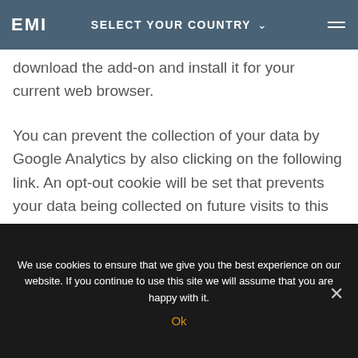SELECT YOUR COUNTRY
download the add-on and install it for your current web browser.
You can prevent the collection of your data by Google Analytics by also clicking on the following link. An opt-out cookie will be set that prevents your data being collected on future visits to this site: Disable Google Analytics.
We use cookies to ensure that we give you the best experience on our website. If you continue to use this site we will assume that you are happy with it.
Ok